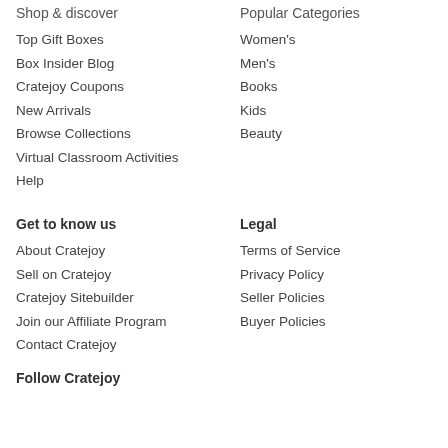Shop & discover
Top Gift Boxes
Box Insider Blog
Cratejoy Coupons
New Arrivals
Browse Collections
Virtual Classroom Activities
Help
Popular Categories
Women's
Men's
Books
Kids
Beauty
Get to know us
About Cratejoy
Sell on Cratejoy
Cratejoy Sitebuilder
Join our Affiliate Program
Contact Cratejoy
Legal
Terms of Service
Privacy Policy
Seller Policies
Buyer Policies
Follow Cratejoy